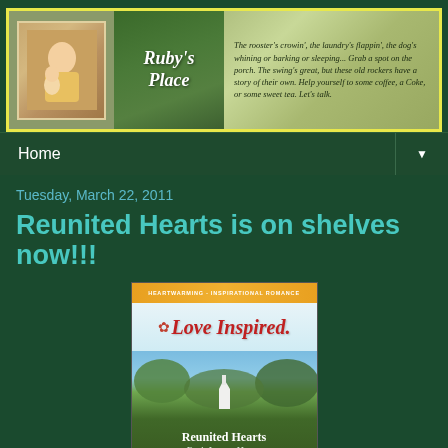[Figure (screenshot): Ruby's Place blog header banner with photo of two people, cursive 'Ruby's Place' title, and handwritten-style quote text on a green and floral background]
Home ▼
Tuesday, March 22, 2011
Reunited Hearts is on shelves now!!!
[Figure (photo): Book cover for 'Reunited Hearts' by Ruth Logan Herne, Love Inspired series, showing a white church steeple amid green hills]